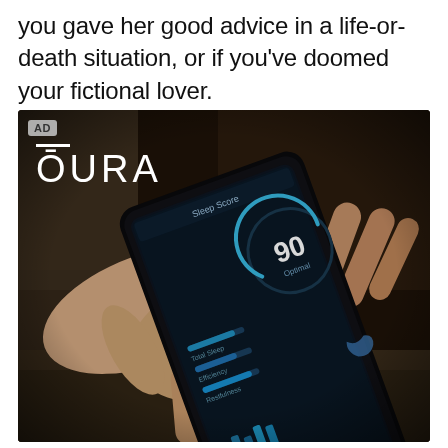you gave her good advice in a life-or-death situation, or if you've doomed your fictional lover.
[Figure (photo): An advertisement for OURA ring showing hands holding a smartphone displaying the Oura app with a sleep score of 90. An Oura smart ring is visible on one finger. The image has a dark, moody background. An 'AD' badge appears in the top-left corner of the image.]